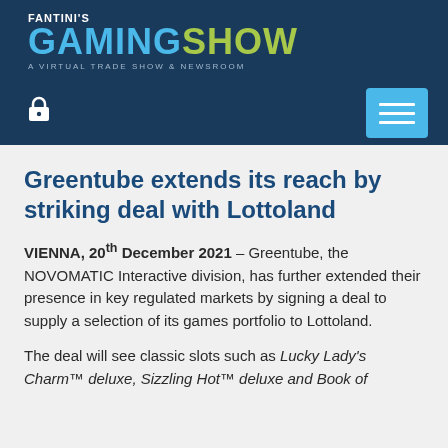[Figure (logo): Fantini's Gaming Show logo — 'FANTINI'S' in white small caps, 'GAMING' in cyan bold, 'SHOW' in yellow-green bold, tagline 'A VIRTUAL TRADE SHOW & NEWSROOM' in light blue-gray on dark navy background]
Greentube extends its reach by striking deal with Lottoland
VIENNA, 20th December 2021 – Greentube, the NOVOMATIC Interactive division, has further extended their presence in key regulated markets by signing a deal to supply a selection of its games portfolio to Lottoland.
The deal will see classic slots such as Lucky Lady's Charm™ deluxe, Sizzling Hot™ deluxe and Book of